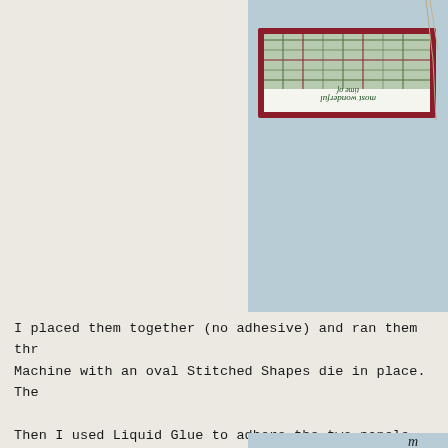[Figure (photo): Top photo showing a Christmas card with plaid red and green pattern, white panel with cursive text reading 'most wonderful time of' (shown upside down/rotated), with twine/ribbon. Light blue background.]
I placed them together (no adhesive) and ran them thr Machine with an oval Stitched Shapes die in place.  The  Then I used Liquid Glue to adhere the two panels toge
[Figure (photo): Bottom photo showing a Christmas card with plaid background, white oval panel with dark green evergreen trees and yellow stars, cursive script text 'most wonderf' visible at top, 'year' visible on left. Light blue background.]